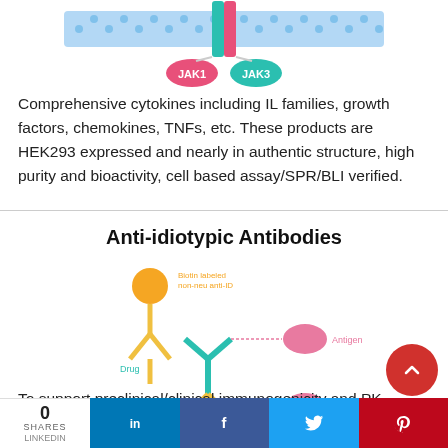[Figure (illustration): Diagram of cytokine receptor with JAK1 and JAK3 kinases shown in pink and teal attached to a membrane receptor, with a blue dotted membrane background]
Comprehensive cytokines including IL families, growth factors, chemokines, TNFs, etc. These products are HEK293 expressed and nearly in authentic structure, high purity and bioactivity, cell based assay/SPR/BLI verified.
Anti-idiotypic Antibodies
[Figure (illustration): Diagram showing anti-idiotypic antibody interactions: biotin labeled non-neu anti-ID antibody (orange, top), Drug antibody (teal, middle), Antigen (pink oval, right), and Non-neu anti-ID (yellow, bottom)]
To support preclinical/clinical immunogenicity and PK analysis, ACROBiosystems has developed a series of high-affinity anti-idiotypic antibodies. Our pipeline covers five hot
0 SHARES | in | f | Twitter | Pinterest